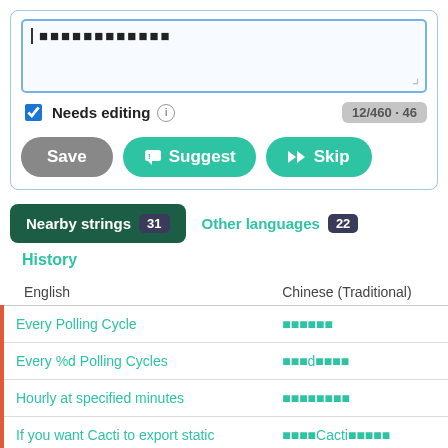[Figure (screenshot): Text area input box with placeholder Japanese/CJK characters and a cursor, inside a card with a blue border]
Needs editing ⓘ  12/460 · 46
[Figure (screenshot): Three buttons: Save (gray), Suggest (teal with icon), Skip (teal with icon)]
Nearby strings 31
Other languages 22
History
| English | Chinese (Traditional) |
| --- | --- |
| Every Polling Cycle | ■■■■■■ |
| Every %d Polling Cycles | ■■■d■■■■ |
| Hourly at specified minutes | ■■■■■■■■ |
| If you want Cacti to export static | ■■■■Cacti■■■■■ |